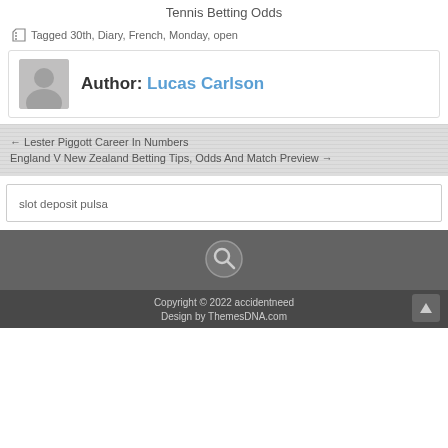Tennis Betting Odds
Tagged 30th, Diary, French, Monday, open
Author: Lucas Carlson
← Lester Piggott Career In Numbers
England V New Zealand Betting Tips, Odds And Match Preview →
slot deposit pulsa
[Figure (illustration): Search icon (magnifying glass) in a circle on dark grey background]
Copyright © 2022 accidentneed
Design by ThemesDNA.com